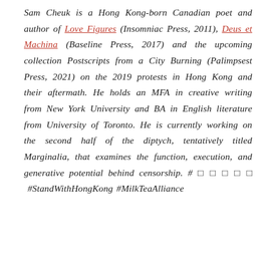Sam Cheuk is a Hong Kong-born Canadian poet and author of Love Figures (Insomniac Press, 2011), Deus et Machina (Baseline Press, 2017) and the upcoming collection Postscripts from a City Burning (Palimpsest Press, 2021) on the 2019 protests in Hong Kong and their aftermath. He holds an MFA in creative writing from New York University and BA in English literature from University of Toronto. He is currently working on the second half of the diptych, tentatively titled Marginalia, that examines the function, execution, and generative potential behind censorship. # □ □ □ □ □  #StandWithHongKong #MilkTeaAlliance